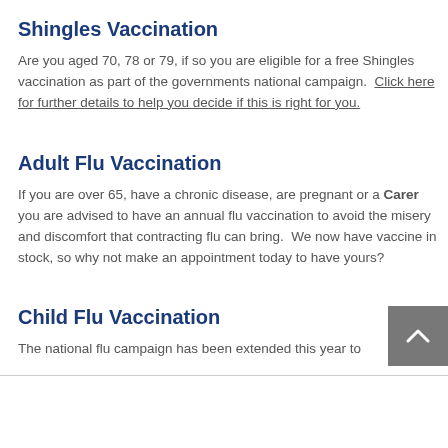Shingles Vaccination
Are you aged 70, 78 or 79, if so you are eligible for a free Shingles vaccination as part of the governments national campaign.  Click here for further details to help you decide if this is right for you.
Adult Flu Vaccination
If you are over 65, have a chronic disease, are pregnant or a Carer you are advised to have an annual flu vaccination to avoid the misery and discomfort that contracting flu can bring.  We now have vaccine in stock, so why not make an appointment today to have yours?
Child Flu Vaccination
The national flu campaign has been extended this year to